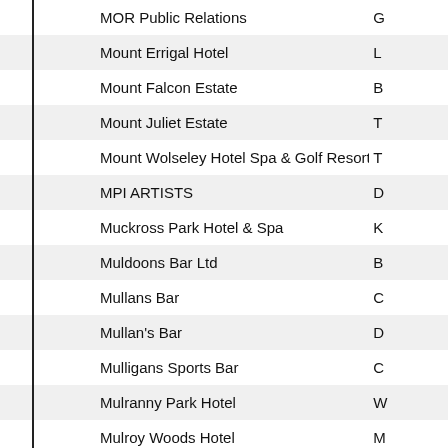| Name | Location |
| --- | --- |
| MOR Public Relations | G |
| Mount Errigal Hotel | L |
| Mount Falcon Estate | B |
| Mount Juliet Estate | T |
| Mount Wolseley Hotel Spa & Golf Resort | T |
| MPI ARTISTS | D |
| Muckross Park Hotel & Spa | K |
| Muldoons Bar Ltd | B |
| Mullans Bar | C |
| Mullan's Bar | D |
| Mulligans Sports Bar | C |
| Mulranny Park Hotel | W |
| Mulroy Woods Hotel | M |
| Mumbai Milano Belfast | B |
| Muriels Cafe Bar | B |
| Murphs Gastro Pub | C |
| Murphys Bar & Restaurant | D |
| Murphys On The Green | S |